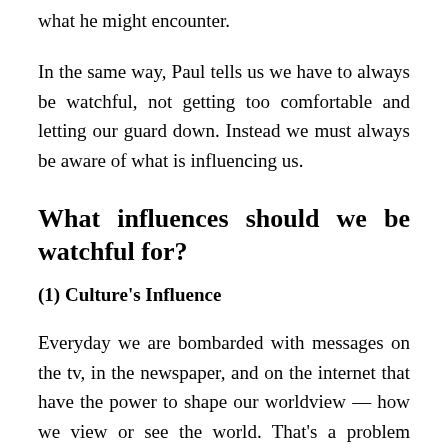what he might encounter.
In the same way, Paul tells us we have to always be watchful, not getting too comfortable and letting our guard down. Instead we must always be aware of what is influencing us.
What influences should we be watchful for?
(1) Culture's Influence
Everyday we are bombarded with messages on the tv, in the newspaper, and on the internet that have the power to shape our worldview — how we view or see the world. That's a problem because as Christians, our